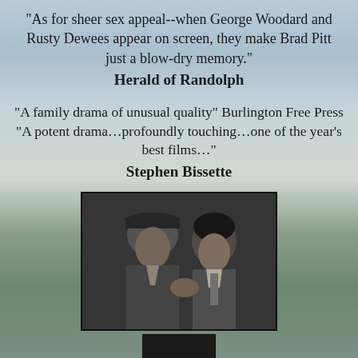“As for sheer sex appeal--when George Woodard and Rusty Dewees appear on screen, they make Brad Pitt just a blow-dry memory.”
Herald of Randolph
“A family drama of unusual quality” Burlington Free Press “A potent drama…profoundly touching…one of the year’s best films…”
Stephen Bissette
[Figure (photo): Black and white photograph of two people, a man wearing a cap and a woman, in close conversation or confrontation, appearing to be from a film scene.]
[Figure (photo): Partial black and white photograph visible at bottom edge of page.]